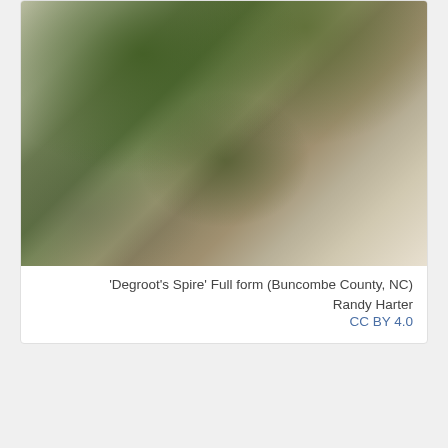[Figure (photo): Overhead view of green shrubs and ornamental plants on a stone path/garden area with mulch and fallen leaves. Shows 'Degroot's Spire' arborvitae plants in a garden setting in Buncombe County, NC.]
'Degroot's Spire' Full form (Buncombe County, NC)
Randy Harter
CC BY 4.0
[Figure (photo): Winter scene showing bare trees and shrubs covered in snow or frost, with some remaining brown/red leaves visible. Gray overcast sky in background.]